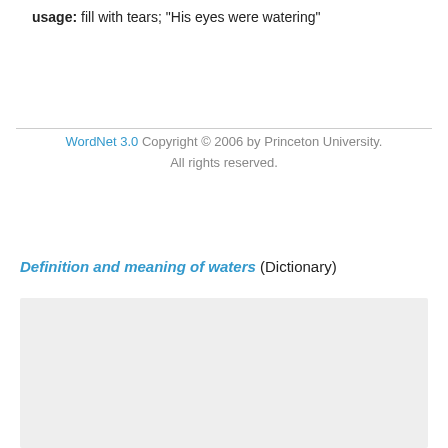usage: fill with tears; "His eyes were watering"
WordNet 3.0 Copyright © 2006 by Princeton University. All rights reserved.
Definition and meaning of waters (Dictionary)
[Figure (other): Gray placeholder box for dictionary content]